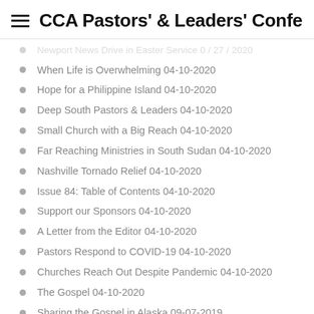CCA Pastors' & Leaders' Confer...
Newport News Drive in Easter Service 0 / 27 / 2020
When Life is Overwhelming 04-10-2020
Hope for a Philippine Island 04-10-2020
Deep South Pastors & Leaders 04-10-2020
Small Church with a Big Reach 04-10-2020
Far Reaching Ministries in South Sudan 04-10-2020
Nashville Tornado Relief 04-10-2020
Issue 84: Table of Contents 04-10-2020
Support our Sponsors 04-10-2020
A Letter from the Editor 04-10-2020
Pastors Respond to COVID-19 04-10-2020
Churches Reach Out Despite Pandemic 04-10-2020
The Gospel 04-10-2020
Sharing the Gospel in Alaska 09-07-2019